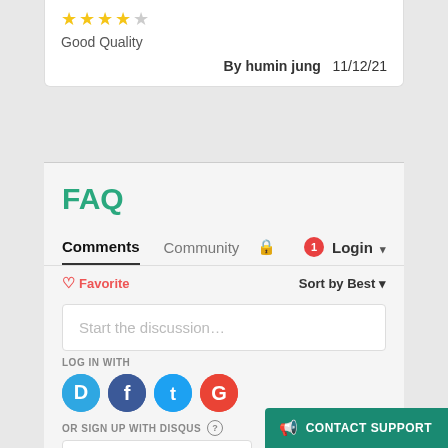Good Quality
By humin jung  11/12/21
FAQ
Comments  Community  Login
♡ Favorite    Sort by Best
Start the discussion...
LOG IN WITH
OR SIGN UP WITH DISQUS ?
Name
CONTACT SUPPORT